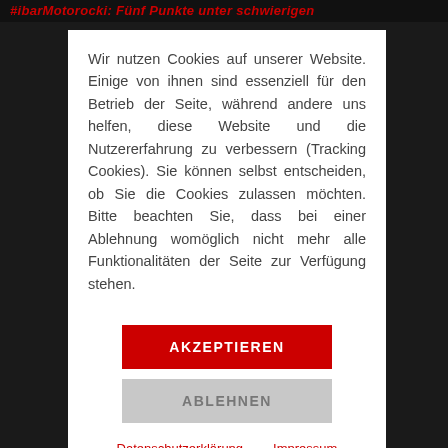#ibarMotorocki: Fünf Punkte unter schwierigen
Wir nutzen Cookies auf unserer Website. Einige von ihnen sind essenziell für den Betrieb der Seite, während andere uns helfen, diese Website und die Nutzererfahrung zu verbessern (Tracking Cookies). Sie können selbst entscheiden, ob Sie die Cookies zulassen möchten. Bitte beachten Sie, dass bei einer Ablehnung womöglich nicht mehr alle Funktionalitäten der Seite zur Verfügung stehen.
AKZEPTIEREN
ABLEHNEN
Datenschutzerklärung    Impressum